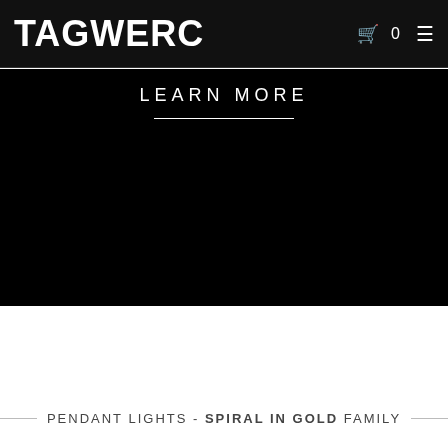TAGWERC
LEARN MORE
PENDANT LIGHTS - SPIRAL IN GOLD FAMILY